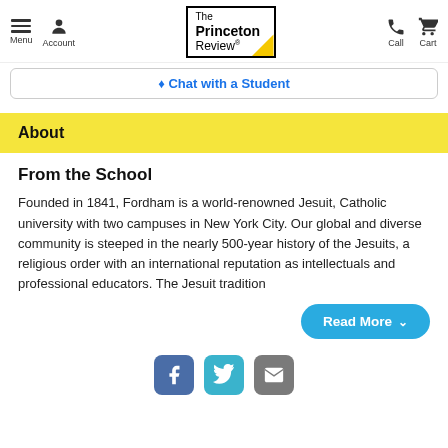Menu | Account | The Princeton Review | Call | Cart
Chat with a Student
About
From the School
Founded in 1841, Fordham is a world-renowned Jesuit, Catholic university with two campuses in New York City. Our global and diverse community is steeped in the nearly 500-year history of the Jesuits, a religious order with an international reputation as intellectuals and professional educators. The Jesuit tradition
Read More